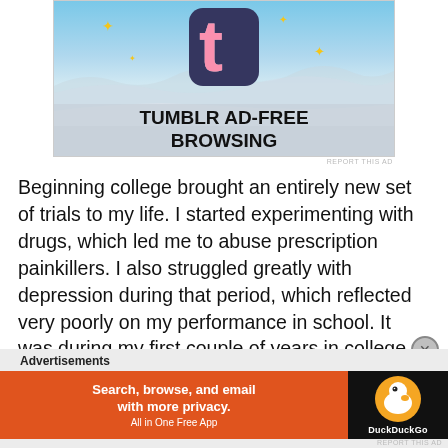[Figure (screenshot): Tumblr Ad-Free Browsing advertisement banner with Tumblr logo on blue sky background]
REPORT THIS AD
Beginning college brought an entirely new set of trials to my life. I started experimenting with drugs, which led me to abuse prescription painkillers. I also struggled greatly with depression during that period, which reflected very poorly on my performance in school. It was during my first couple of years in college that I was raped two more times and, at the hands of an ex-boyfriend, I
Advertisements
[Figure (screenshot): DuckDuckGo advertisement: Search, browse, and email with more privacy. All in One Free App. DuckDuckGo logo on right.]
REPORT THIS AD